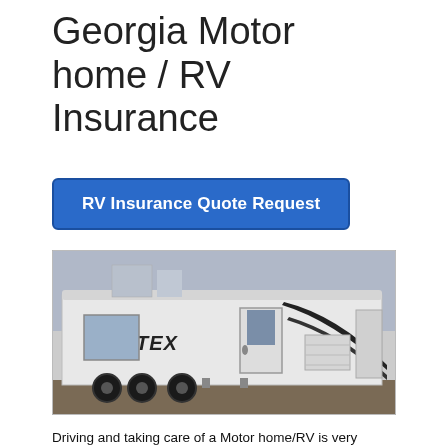Georgia Motor home / RV Insurance
RV Insurance Quote Request
[Figure (photo): Photo of a white Vortex RV/travel trailer with black swoosh graphics on the side, parked on pavement with a grey sky background.]
Driving and taking care of a Motor home/RV is very different from a car or truck. So, don't make the mistake of trying to insure yours with a traditional "auto" insurance policy. Make